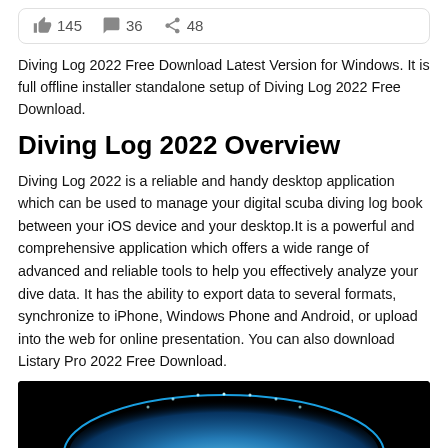[Figure (infographic): Social engagement bar showing thumbs up icon with 145, speech bubble icon with 36, and share icon with 48]
Diving Log 2022 Free Download Latest Version for Windows. It is full offline installer standalone setup of Diving Log 2022 Free Download.
Diving Log 2022 Overview
Diving Log 2022 is a reliable and handy desktop application which can be used to manage your digital scuba diving log book between your iOS device and your desktop.It is a powerful and comprehensive application which offers a wide range of advanced and reliable tools to help you effectively analyze your dive data. It has the ability to export data to several formats, synchronize to iPhone, Windows Phone and Android, or upload into the web for online presentation. You can also download Listary Pro 2022 Free Download.
[Figure (screenshot): Screenshot showing a blue glowing circular shape on a black background, partially visible at the bottom of the page]